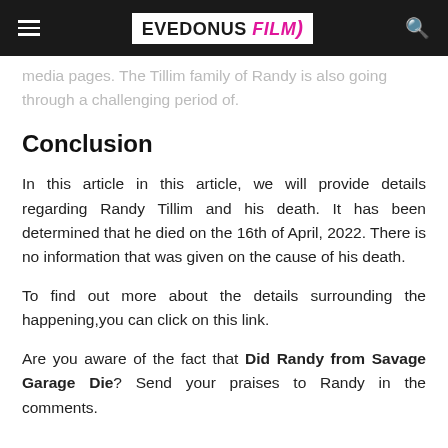EVEDONUS FILM
media pages. The Tillim family of Randy is also going through a challenging period of.
Conclusion
In this article in this article, we will provide details regarding Randy Tillim and his death. It has been determined that he died on the 16th of April, 2022. There is no information that was given on the cause of his death.
To find out more about the details surrounding the happening,you can click on this link.
Are you aware of the fact that Did Randy from Savage Garage Die? Send your praises to Randy in the comments.